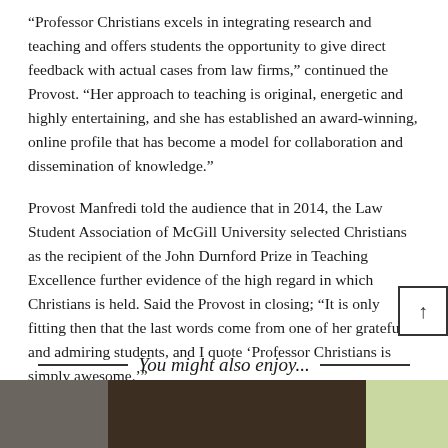“Professor Christians excels in integrating research and teaching and offers students the opportunity to give direct feedback with actual cases from law firms,” continued the Provost. “Her approach to teaching is original, energetic and highly entertaining, and she has established an award-winning, online profile that has become a model for collaboration and dissemination of knowledge.”
Provost Manfredi told the audience that in 2014, the Law Student Association of McGill University selected Christians as the recipient of the John Durnford Prize in Teaching Excellence further evidence of the high regard in which Christians is held. Said the Provost in closing; “It is only fitting then that the last words come from one of her grateful and admiring students, and I quote ‘Professor Christians is simply awesome.’”
You might also enjoy...
[Figure (photo): Three thumbnail images at the bottom of the page, partially visible: a dark figure on the left, a close-up portrait in the center, and a light green image on the right.]